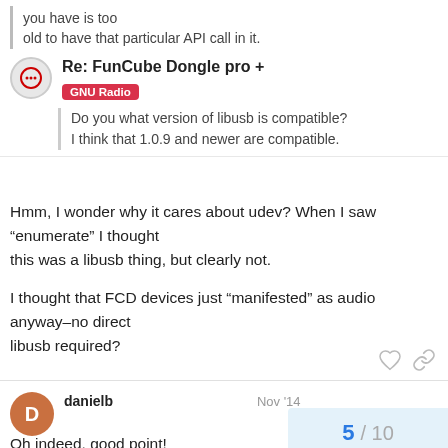you have is too old to have that particular API call in it.
Re: FunCube Dongle pro +
GNU Radio
Do you what version of libusb is compatible? I think that 1.0.9 and newer are compatible.
Hmm, I wonder why it cares about udev? When I saw “enumerate” I thought this was a libusb thing, but clearly not.
I thought that FCD devices just “manifested” as audio anyway–no direct libusb required?
danielb   Nov '14
Oh indeed, good point!
5 / 10